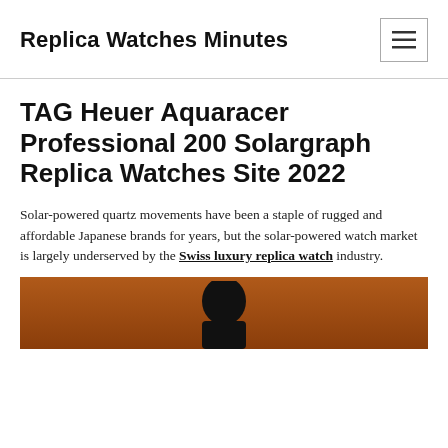Replica Watches Minutes
TAG Heuer Aquaracer Professional 200 Solargraph Replica Watches Site 2022
Solar-powered quartz movements have been a staple of rugged and affordable Japanese brands for years, but the solar-powered watch market is largely underserved by the Swiss luxury replica watch industry.
[Figure (photo): A dark silhouette of a watch on a brown/orange background, partially visible at the bottom of the page.]